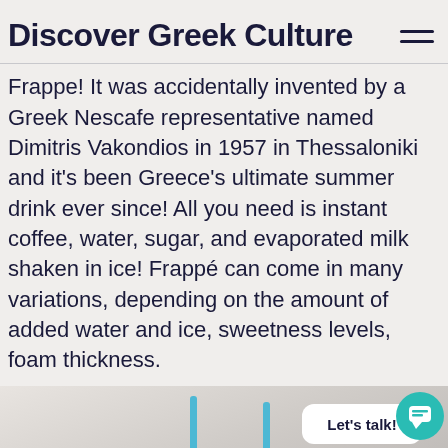Discover Greek Culture
Frappe! It was accidentally invented by a Greek Nescafe representative named Dimitris Vakondios in 1957 in Thessaloniki and it's been Greece's ultimate summer drink ever since! All you need is instant coffee, water, sugar, and evaporated milk shaken in ice! Frappé can come in many variations, depending on the amount of added water and ice, sweetness levels, foam thickness.
[Figure (photo): Two frappé coffee drinks in glasses with blue straws, viewed from above, on a light blurred background. A chat bubble saying 'Let's talk!' and a teal chat icon are overlaid on the right side.]